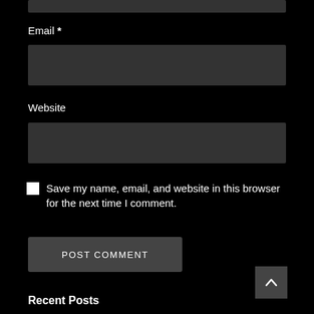[Figure (screenshot): Input field at top of page (partial, cropped)]
Email *
[Figure (screenshot): Email input text field (dark gray background)]
Website
[Figure (screenshot): Website input text field (dark gray background)]
Save my name, email, and website in this browser for the next time I comment.
[Figure (screenshot): POST COMMENT button (dark gray, uppercase)]
[Figure (screenshot): Back to top button with caret/arrow icon]
Recent Posts